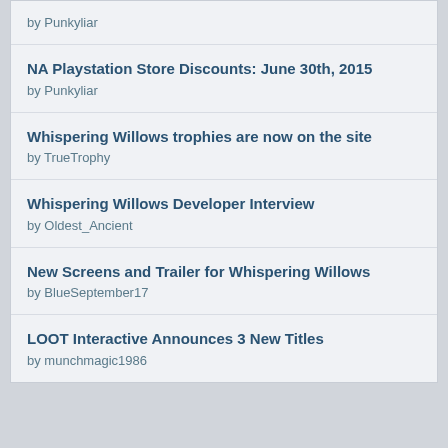by Punkyliar
NA Playstation Store Discounts: June 30th, 2015
by Punkyliar
Whispering Willows trophies are now on the site
by TrueTrophy
Whispering Willows Developer Interview
by Oldest_Ancient
New Screens and Trailer for Whispering Willows
by BlueSeptember17
LOOT Interactive Announces 3 New Titles
by munchmagic1986